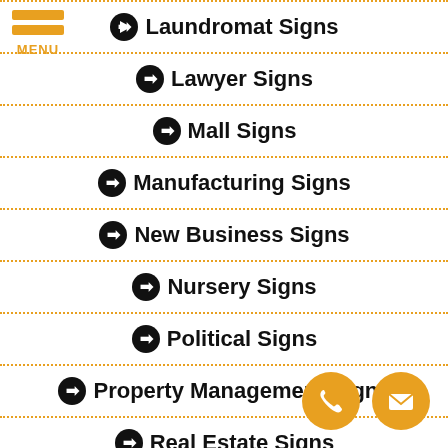MENU
Laundromat Signs
Lawyer Signs
Mall Signs
Manufacturing Signs
New Business Signs
Nursery Signs
Political Signs
Property Management Signs
Real Estate Signs